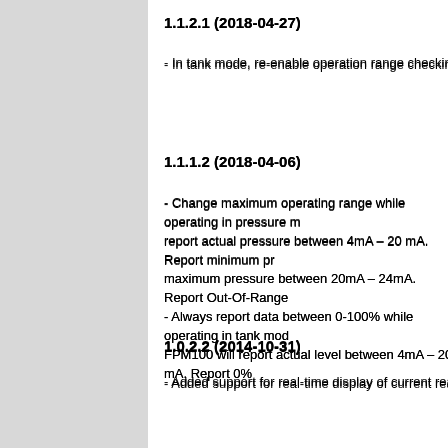1.1.2.1 (2018-04-27)
- In tank mode, re-enable operation range checking at 4mA (20mA…
1.1.1.2 (2018-04-06)
- Change maximum operating range while operating in pressure m… report actual pressure between 4mA – 20 mA. Report minimum pr… maximum pressure between 20mA – 24mA. Report Out-Of-Range…
- Always report data between 0-100% while operating in tank mode… FPM100 will report actual level between 4mA – 20 mA. Report 0%…
1.0.2.2 (2014-10-31)
- Added support for real-time display of current readings during cal…
1.0.1 (2011-11-03)
- Initial Release